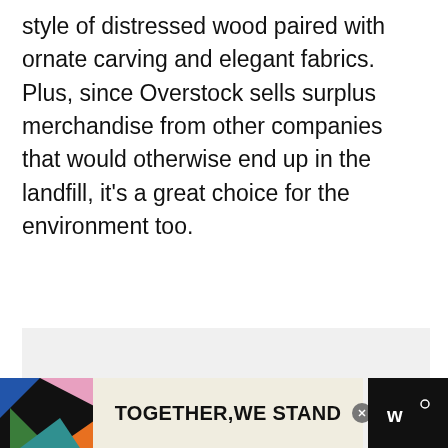style of distressed wood paired with ornate carving and elegant fabrics. Plus, since Overstock sells surplus merchandise from other companies that would otherwise end up in the landfill, it's a great choice for the environment too.
[Figure (screenshot): A large light gray image placeholder area with social sharing UI elements: a gold heart/like button, count of 6, and a share button on the right side. A 'What's Next' card appears at bottom right showing 'Where to Buy Weighted...' with a thumbnail.]
[Figure (infographic): Advertisement banner at the bottom with black background on left and right, colorful geometric shapes, and center cream/tan area with bold text 'TOGETHER, WE STAND' and a close button and a logo on the right.]